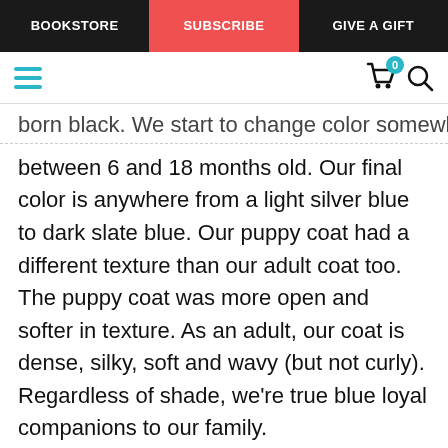BOOKSTORE | SUBSCRIBE | GIVE A GIFT
born black. We start to change color somewhere between 6 and 18 months old. Our final color is anywhere from a light silver blue to dark slate blue. Our puppy coat had a different texture than our adult coat too. The puppy coat was more open and softer in texture. As an adult, our coat is dense, silky, soft and wavy (but not curly). Regardless of shade, we're true blue loyal companions to our family.